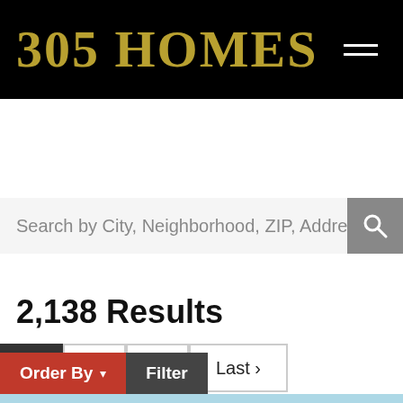305 HOMES
Search by City, Neighborhood, ZIP, Address,
Miami Beach Real Estate / Florida Luxury Homes For Sale, Single Family Houses
LUXURY HOMES FOR SALE
2,138 Results
1  2  >  Last ›
Order By  Filter